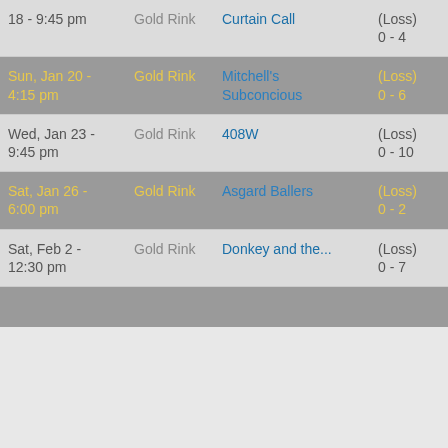| Date | Location | Opponent | Result | Pts |
| --- | --- | --- | --- | --- |
| 18 - 9:45 pm | Gold Rink | Curtain Call | (Loss)
0 - 4 | 0 |
| Sun, Jan 20 - 4:15 pm | Gold Rink | Mitchell's Subconcious | (Loss)
0 - 6 | 0 |
| Wed, Jan 23 - 9:45 pm | Gold Rink | 408W | (Loss)
0 - 10 | 0 |
| Sat, Jan 26 - 6:00 pm | Gold Rink | Asgard Ballers | (Loss)
0 - 2 | 0 |
| Sat, Feb 2 - 12:30 pm | Gold Rink | Donkey and the... | (Loss)
0 - 7 | 0 |